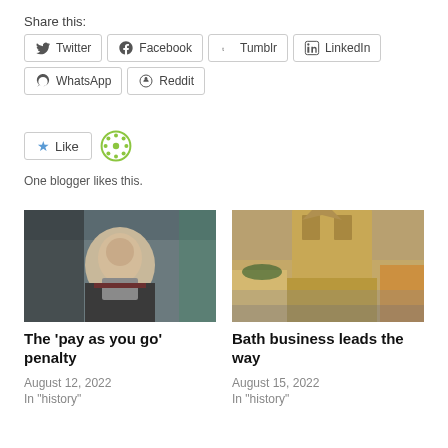Share this:
Twitter
Facebook
Tumblr
LinkedIn
WhatsApp
Reddit
Like
One blogger likes this.
[Figure (photo): Photo of a man in a suit smiling]
The ‘pay as you go’ penalty
August 12, 2022
In "history"
[Figure (photo): Photo of a historic street scene in Bath with a cathedral in the background]
Bath business leads the way
August 15, 2022
In "history"